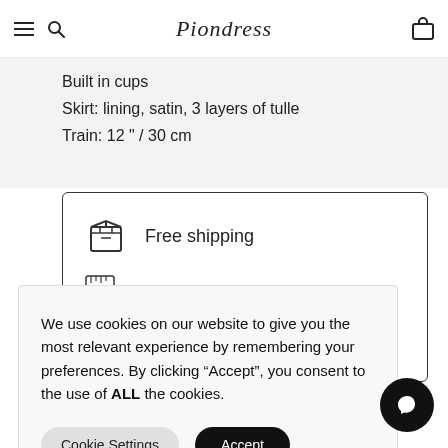Piondress
Built in cups
Skirt: lining, satin, 3 layers of tulle
Train: 12 " / 30 cm
[Figure (infographic): Free shipping icon and text inside a rounded rectangle border]
We use cookies on our website to give you the most relevant experience by remembering your preferences. By clicking "Accept", you consent to the use of ALL the cookies.
Cookie Settings | Accept